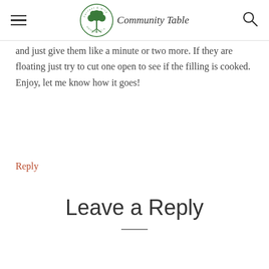harvest & wild Community Table Nova Scotia
and just give them like a minute or two more. If they are floating just try to cut one open to see if the filling is cooked. Enjoy, let me know how it goes!
Reply
Leave a Reply